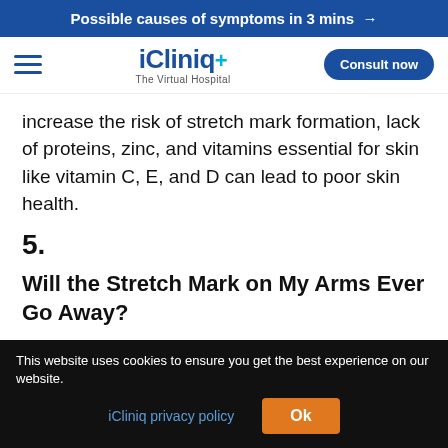Possible causes of symptoms in 3 mins →
[Figure (logo): iCliniq+ The Virtual Hospital logo with hamburger menu and Consult now button]
increase the risk of stretch mark formation, lack of proteins, zinc, and vitamins essential for skin like vitamin C, E, and D can lead to poor skin health.
5.
Will the Stretch Mark on My Arms Ever Go Away?
This website uses cookies to ensure you get the best experience on our website.
iCliniq privacy policy  Ok